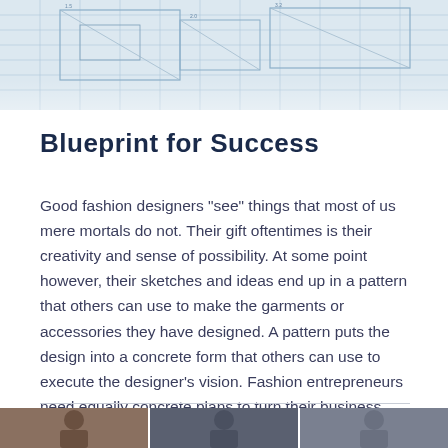[Figure (photo): Blueprint technical drawing with grid lines and geometric patterns, light blue tones]
Blueprint for Success
Good fashion designers "see" things that most of us mere mortals do not. Their gift oftentimes is their creativity and sense of possibility. At some point however, their sketches and ideas end up in a pattern that others can use to make the garments or accessories they have designed. A pattern puts the design into a concrete form that others can use to execute the designer's vision. Fashion entrepreneurs need equally concrete plans to turn their business vision into a a viabl
[Figure (photo): Strip of three small photos at the bottom of the page showing people or fashion subjects]